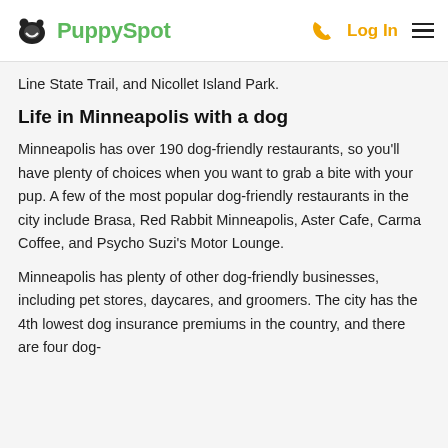PuppySpot  Log In
Line State Trail, and Nicollet Island Park.
Life in Minneapolis with a dog
Minneapolis has over 190 dog-friendly restaurants, so you'll have plenty of choices when you want to grab a bite with your pup. A few of the most popular dog-friendly restaurants in the city include Brasa, Red Rabbit Minneapolis, Aster Cafe, Carma Coffee, and Psycho Suzi's Motor Lounge.
Minneapolis has plenty of other dog-friendly businesses, including pet stores, daycares, and groomers. The city has the 4th lowest dog insurance premiums in the country, and there are four dog-